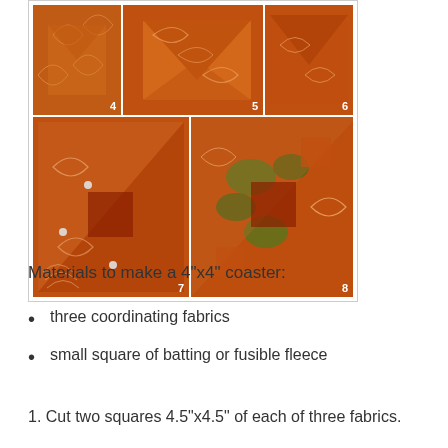[Figure (photo): Six step photos (numbered 4-8) showing the process of making fabric coasters with orange/autumn leaf patterned fabric. Photos show folding, arranging, and assembling quilted coasters.]
Materials to make a 4"x4" coaster:
three coordinating fabrics
small square of batting or fusible fleece
1. Cut two squares 4.5"x4.5" of each of three fabrics.